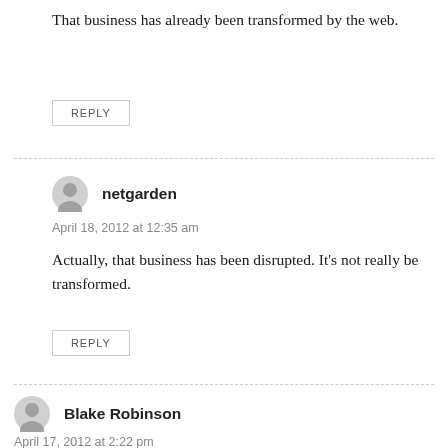That business has already been transformed by the web.
REPLY
netgarden
April 18, 2012 at 12:35 am
Actually, that business has been disrupted. It's not really be transformed.
REPLY
Blake Robinson
April 17, 2012 at 2:22 pm